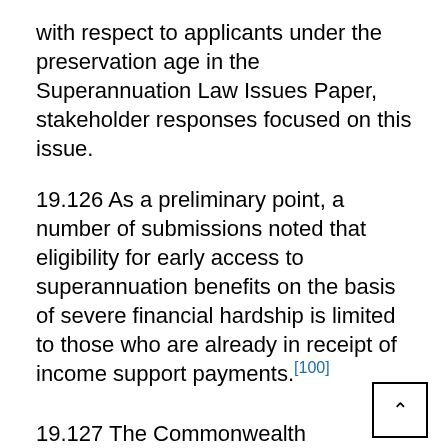with respect to applicants under the preservation age in the Superannuation Law Issues Paper, stakeholder responses focused on this issue.
19.126 As a preliminary point, a number of submissions noted that eligibility for early access to superannuation benefits on the basis of severe financial hardship is limited to those who are already in receipt of income support payments.[100]
19.127 The Commonwealth